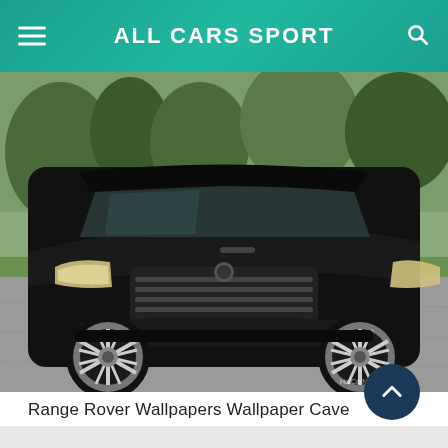ALL CARS SPORT
[Figure (photo): Front-low angle photo of a black luxury SUV (Range Rover) with chrome multi-spoke wheels, parked on a gravel driveway with green lawn and trees in background. Watermark 'HotCarNews.net' in bottom right corner.]
Range Rover Wallpapers Wallpaper Cave